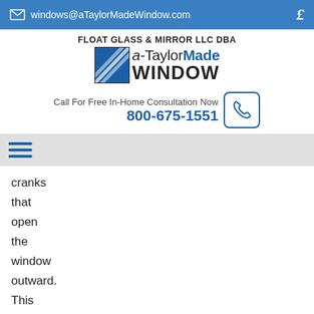windows@aTaylorMadeWindow.com
FLOAT GLASS & MIRROR LLC DBA a-TaylorMade WINDOW
Call For Free In-Home Consultation Now 800-675-1551
[Figure (other): Hamburger menu icon (three horizontal blue lines)]
cranks that open the window outward. This means that if you want to